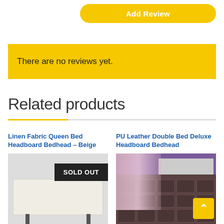Add Review
There are no reviews yet.
Related products
Linen Fabric Queen Bed Headboard Bedhead – Beige
[Figure (photo): Linen fabric beige queen bed headboard with SOLD OUT badge overlay]
PU Leather Double Bed Deluxe Headboard Bedhead
[Figure (photo): PU leather dark brown tufted double bed headboard with purple/pink room background]